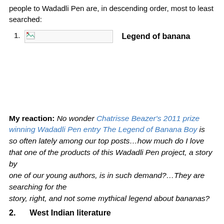people to Wadadli Pen are, in descending order, most to least searched:
1. [image] Legend of banana
My reaction: No wonder Chatrisse Beazer's 2011 prize winning Wadadli Pen entry The Legend of Banana Boy is so often lately among our top posts…how much do I love that one of the products of this Wadadli Pen project, a story by one of our young authors, is in such demand?…They are searching for the story, right, and not some mythical legend about bananas?
2. West Indian literature